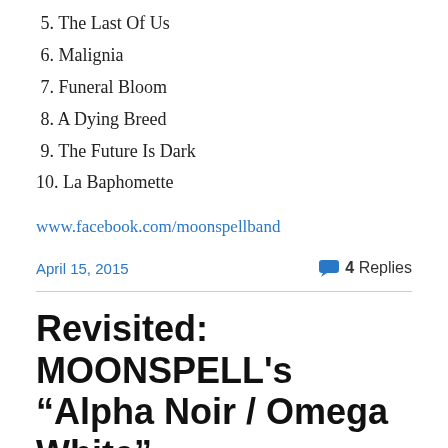5. The Last Of Us
6. Malignia
7. Funeral Bloom
8. A Dying Breed
9. The Future Is Dark
10. La Baphomette
www.facebook.com/moonspellband
April 15, 2015
4 Replies
Revisited: MOONSPELL's “Alpha Noir / Omega White”
Originally written for Destructive Music.